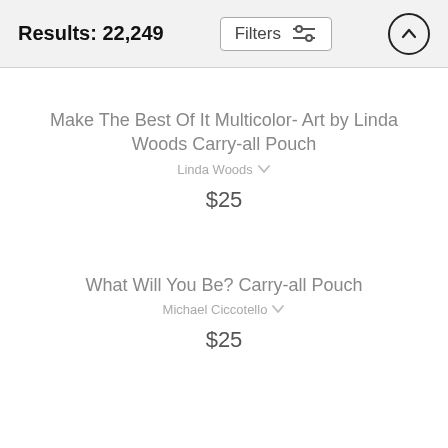Results: 22,249
Make The Best Of It Multicolor- Art by Linda Woods Carry-all Pouch
Linda Woods
$25
What Will You Be? Carry-all Pouch
Michael Ciccotello
$25